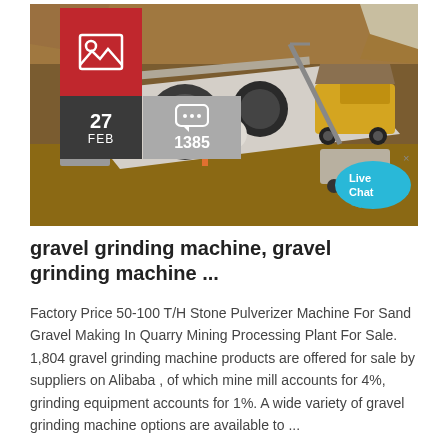[Figure (photo): Aerial view of a quarry mining processing plant with machinery, conveyor belts, dump trucks, and workers on site. Overlaid with a red image icon box, a dark date badge showing '27 FEB', a grey comment badge showing '1385', and a cyan 'Live Chat' speech bubble in the lower right corner.]
gravel grinding machine, gravel grinding machine ...
Factory Price 50-100 T/H Stone Pulverizer Machine For Sand Gravel Making In Quarry Mining Processing Plant For Sale. 1,804 gravel grinding machine products are offered for sale by suppliers on Alibaba , of which mine mill accounts for 4%, grinding equipment accounts for 1%. A wide variety of gravel grinding machine options are available to ...